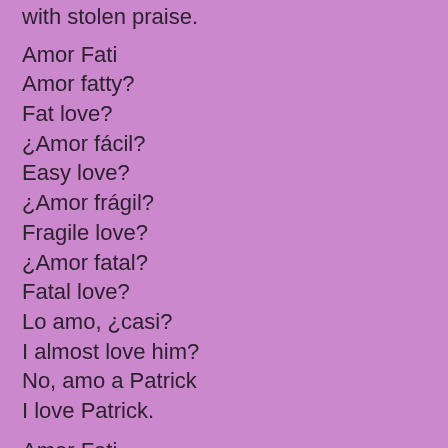with stolen praise.
Amor Fati
Amor fatty?
Fat love?
¿Amor fácil?
Easy love?
¿Amor frágil?
Fragile love?
¿Amor fatal?
Fatal love?
Lo amo, ¿casi?
I almost love him?
No, amo a Patrick
I love Patrick.
Amor Fati